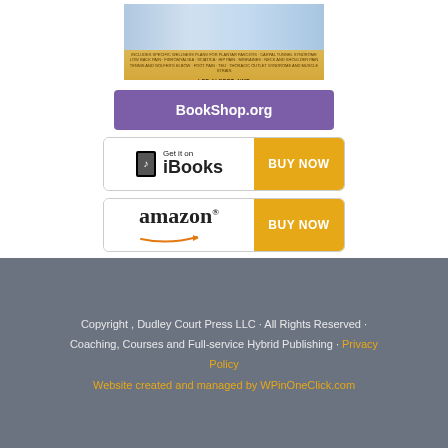[Figure (illustration): Book cover for Lee Albert NMT yoga/pain relief book with golden background and medical imagery]
BookShop.org
[Figure (illustration): Get it on iBooks button with Apple logo and BUY NOW on golden right side]
[Figure (illustration): Amazon BUY NOW button with Amazon logo and golden right side]
Copyright , Dudley Court Press LLC · All Rights Reserved · Coaching, Courses and Full-service Hybrid Publishing · Privacy Policy
Website created and managed by WPinOneClick.com